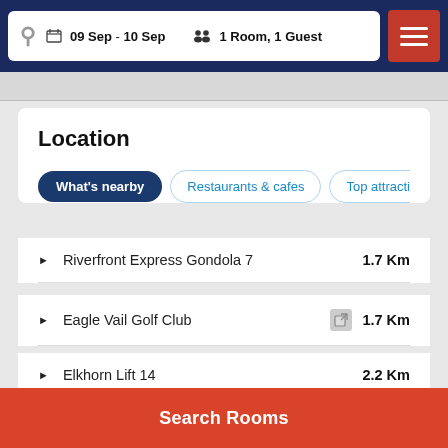09 Sep - 10 Sep  1 Room, 1 Guest
Location
What's nearby | Restaurants & cafes | Top attractions | Cl
Riverfront Express Gondola 7  1.7 Km
Eagle Vail Golf Club  1.7 Km
Elkhorn Lift 14  2.2 Km
Lower Beaver Creek Mountain Expre...  2.3 Km
Search Rooms